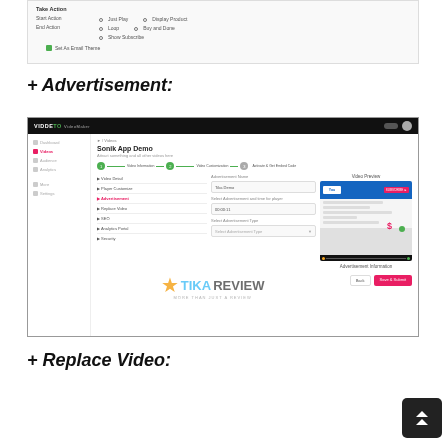[Figure (screenshot): Partial screenshot of a video settings interface showing Take Action section with Start Action and End Action options]
+ Advertisement:
[Figure (screenshot): Screenshot of Viddyto video maker platform showing the Advertisement configuration step for 'Sonik App Demo' video with form fields for Advertisement Name, frequency settings, and Advertisement Type selector, plus a Video Preview panel showing a YouTube-like interface. Tika Review watermark overlaid.]
+ Replace Video: